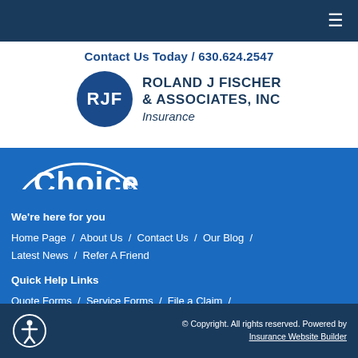≡
Contact Us Today / 630.624.2547
[Figure (logo): Roland J Fischer & Associates, Inc Insurance logo with RJF circle emblem]
[Figure (logo): Partial Choice logo in blue background area]
We're here for you
Home Page  /  About Us  /  Contact Us  /  Our Blog  /  Latest News  /  Refer A Friend
Quick Help Links
Quote Forms  /  Service Forms  /  File a Claim  /  Insurance Glossary  /  FAQs
© Copyright. All rights reserved. Powered by Insurance Website Builder